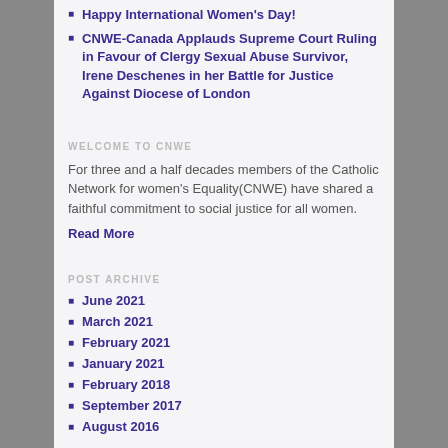Happy International Women's Day!
CNWE-Canada Applauds Supreme Court Ruling in Favour of Clergy Sexual Abuse Survivor, Irene Deschenes in her Battle for Justice Against Diocese of London
WELCOME TO CNWE
For three and a half decades members of the Catholic Network for women's Equality(CNWE) have shared a faithful commitment to social justice for all women.
Read More
POST ARCHIVE
June 2021
March 2021
February 2021
January 2021
February 2018
September 2017
August 2016